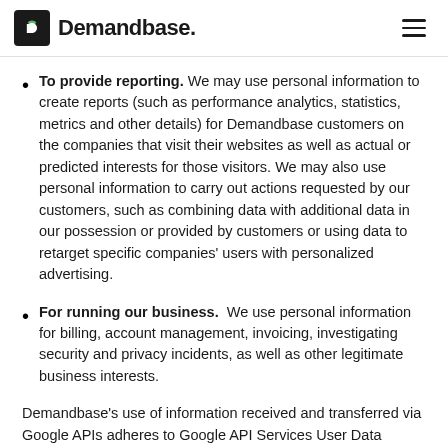Demandbase
To provide reporting. We may use personal information to create reports (such as performance analytics, statistics, metrics and other details) for Demandbase customers on the companies that visit their websites as well as actual or predicted interests for those visitors. We may also use personal information to carry out actions requested by our customers, such as combining data with additional data in our possession or provided by customers or using data to retarget specific companies' users with personalized advertising.
For running our business. We use personal information for billing, account management, invoicing, investigating security and privacy incidents, as well as other legitimate business interests.
Demandbase's use of information received and transferred via Google APIs adheres to Google API Services User Data Policy, including the Limited Use requirements documented